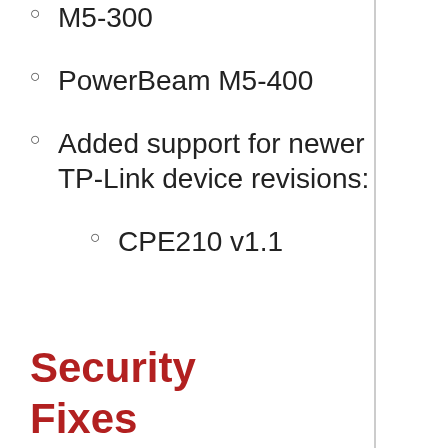M5-300
PowerBeam M5-400
Added support for newer TP-Link device revisions:
CPE210 v1.1
Security Fixes